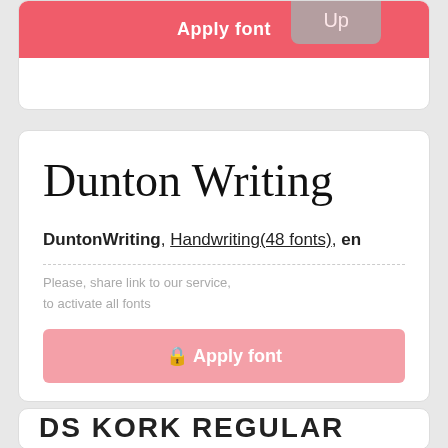[Figure (screenshot): Top card showing 'Apply font' red button with 'Up' badge overlay]
[Figure (screenshot): Second card showing Dunton Writing font preview, metadata, share note, and locked Apply font pink button]
[Figure (screenshot): Third card partially visible showing DS KORK REGULAR font preview text]